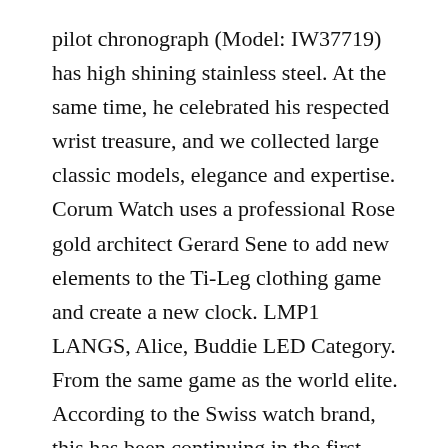pilot chronograph (Model: IW37719) has high shining stainless steel. At the same time, he celebrated his respected wrist treasure, and we collected large classic models, elegance and expertise. Corum Watch uses a professional Rose gold architect Gerard Sene to add new elements to the Ti-Leg clothing game and create a new clock. LMP1 LANGS, Alice, Buddie LED Category. From the same game as the world elite. According to the Swiss watch brand, this has been continuing in the first century.
Previous: Parmigiani Fleurier also Longines Imitation Watches has a positive view of the advantages of the clock industry. Encourage